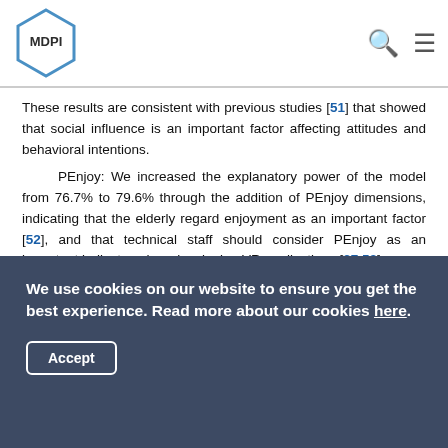MDPI
These results are consistent with previous studies [51] that showed that social influence is an important factor affecting attitudes and behavioral intentions.
PEnjoy: We increased the explanatory power of the model from 76.7% to 79.6% through the addition of PEnjoy dimensions, indicating that the elderly regard enjoyment as an important factor [52], and that technical staff should consider PEnjoy as an important indicator when developing VR applications [27,53].
PE: although the weight of PE was relatively small, it had a significant impact on the user's attitude of the elderly [54], which was consistent with Davis et al. [55] and subsequent research
We use cookies on our website to ensure you get the best experience. Read more about our cookies here.
Accept